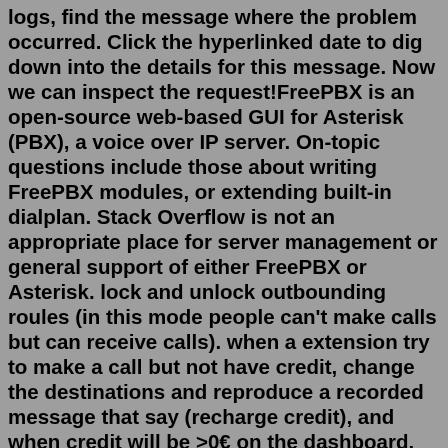logs, find the message where the problem occurred. Click the hyperlinked date to dig down into the details for this message. Now we can inspect the request!FreePBX is an open-source web-based GUI for Asterisk (PBX), a voice over IP server. On-topic questions include those about writing FreePBX modules, or extending built-in dialplan. Stack Overflow is not an appropriate place for server management or general support of either FreePBX or Asterisk. lock and unlock outbounding roules (in this mode people can't make calls but can receive calls). when a extension try to make a call but not have credit, change the destinations and reproduce a recorded message that say (recharge credit), and when credit will be >0€ on the dashboard, with another API REST request, change the destination ...Grant developers access to client libraries that wrap REST API calls in a simple-to-use interface for integrating the Genesys Cloud platform with your other applications . ... How To Stop An Iron Golem From Attacking You There is no native REST API for